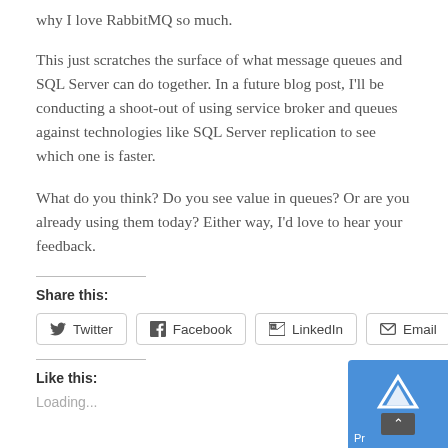why I love RabbitMQ so much.
This just scratches the surface of what message queues and SQL Server can do together. In a future blog post, I'll be conducting a shoot-out of using service broker and queues against technologies like SQL Server replication to see which one is faster.
What do you think? Do you see value in queues? Or are you already using them today? Either way, I'd love to hear your feedback.
Share this:
Twitter | Facebook | LinkedIn | Email
Like this:
Loading...